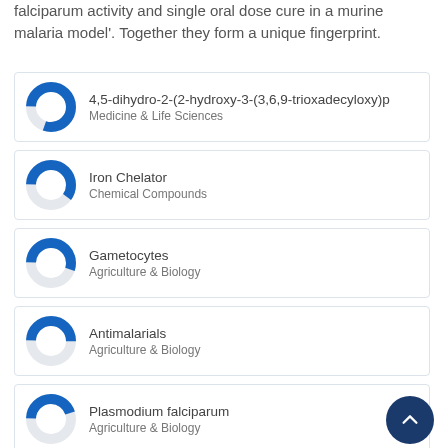falciparum activity and single oral dose cure in a murine malaria model'. Together they form a unique fingerprint.
4,5-dihydro-2-(2-hydroxy-3-(3,6,9-trioxadecyloxy)p — Medicine & Life Sciences
Iron Chelator — Chemical Compounds
Gametocytes — Agriculture & Biology
Antimalarials — Agriculture & Biology
Plasmodium falciparum — Agriculture & Biology
Antimalarial — Chemical Compounds